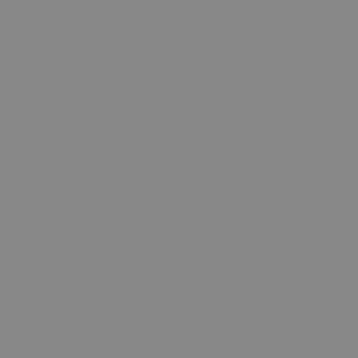template as a PD designed photogra https://e
neequi (Mittwoc Sep 20, choice, top-rated FORMO FORMO 450MG neequi https://m itemNam https://m itemNam https://m itemNam Semeste https://m